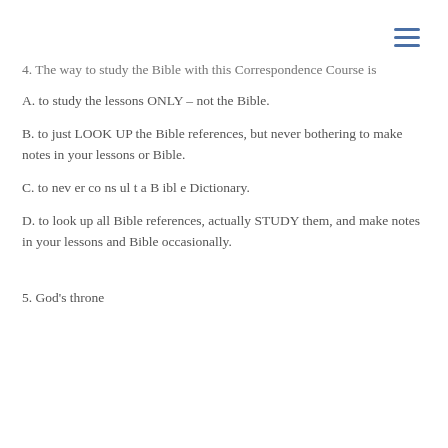≡
4. The way to study the Bible with this Correspondence Course is
A. to study the lessons ONLY – not the Bible.
B. to just LOOK UP the Bible references, but never bothering to make notes in your lessons or Bible.
C. to nev er co ns ul t a B ibl e Dictionary.
D. to look up all Bible references, actually STUDY them, and make notes in your lessons and Bible occasionally.
5. God's throne